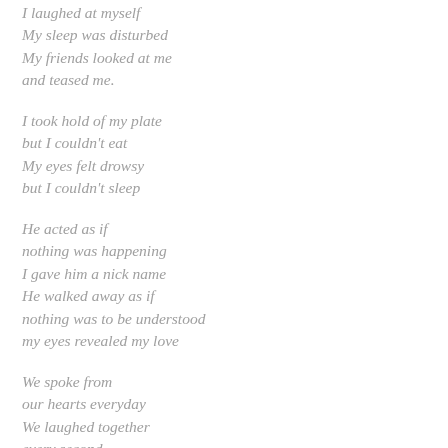I laughed at myself
My sleep was disturbed
My friends looked at me
and teased me.
I took hold of my plate
but I couldn't eat
My eyes felt drowsy
but I couldn't sleep
He acted as if
nothing was happening
I gave him a nick name
He walked away as if
nothing was to be understood
my eyes revealed my love
We spoke from
our hearts everyday
We laughed together
every second
He...